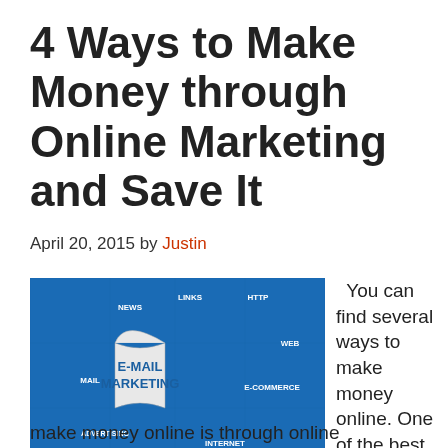4 Ways to Make Money through Online Marketing and Save It
April 20, 2015 by Justin
[Figure (photo): Blue puzzle pieces with online marketing terms: E-MAIL MARKETING highlighted in the center, surrounded by pieces labeled NEWS, LINKS, HTTP, WEB, MAIL, E-COMMERCE, ADVERTISING, WEBSITE, CONTENT, INTERNET]
You can find several ways to make money online. One of the best ways to make money online is through online